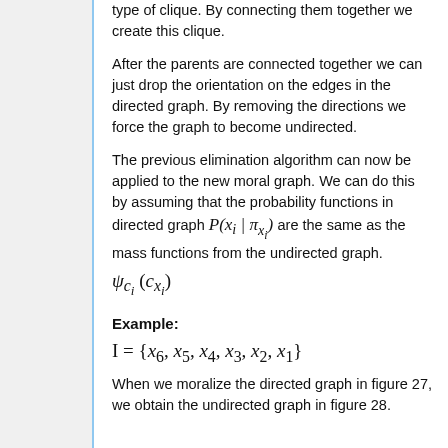type of clique. By connecting them together we create this clique.
After the parents are connected together we can just drop the orientation on the edges in the directed graph. By removing the directions we force the graph to become undirected.
The previous elimination algorithm can now be applied to the new moral graph. We can do this by assuming that the probability functions in directed graph P(x_i | π_{x_i}) are the same as the mass functions from the undirected graph. ψ_{c_i}(c_{x_i})
Example: I = {x_6, x_5, x_4, x_3, x_2, x_1} When we moralize the directed graph in figure 27, we obtain the undirected graph in figure 28.